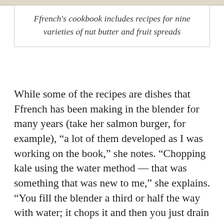Ffrench's cookbook includes recipes for nine varieties of nut butter and fruit spreads
While some of the recipes are dishes that Ffrench has been making in the blender for many years (take her salmon burger, for example), “a lot of them developed as I was working on the book,” she notes. “Chopping kale using the water method — that was something that was new to me,” she explains. “You fill the blender a third or half the way with water; it chops it and then you just drain it. You need a sturdy vegetable, like cabbage, kale, or carrots, because parsley or spinach would just disintegrate.”